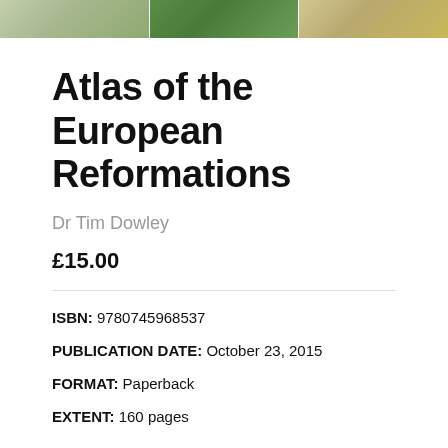[Figure (illustration): Three map/image segments shown as a horizontal strip at the top of the page]
Atlas of the European Reformations
Dr Tim Dowley
£15.00
ISBN: 9780745968537
PUBLICATION DATE: October 23, 2015
FORMAT: Paperback
EXTENT: 160 pages